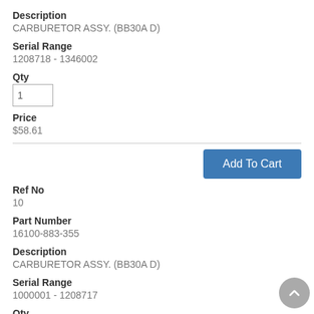Description
CARBURETOR ASSY. (BB30A D)
Serial Range
1208718 - 1346002
Qty
1
Price
$58.61
Add To Cart
Ref No
10
Part Number
16100-883-355
Description
CARBURETOR ASSY. (BB30A D)
Serial Range
1000001 - 1208717
Qty
1